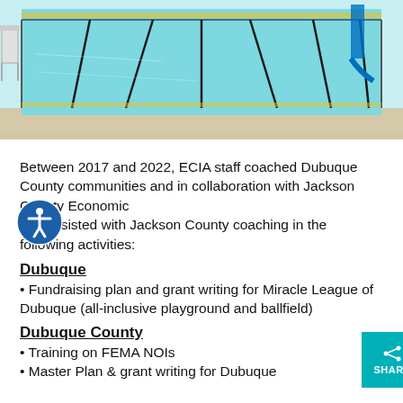[Figure (photo): Outdoor swimming pool with lane lines visible, blue water, lifeguard chair on left, slide in background on right.]
Between 2017 and 2022, ECIA staff coached Dubuque County communities and in collaboration with Jackson County Economic Alliance assisted with Jackson County coaching in the following activities:
Dubuque
Fundraising plan and grant writing for Miracle League of Dubuque (all-inclusive playground and ballfield)
Dubuque County
Training on FEMA NOIs
Master Plan & grant writing for Dubuque